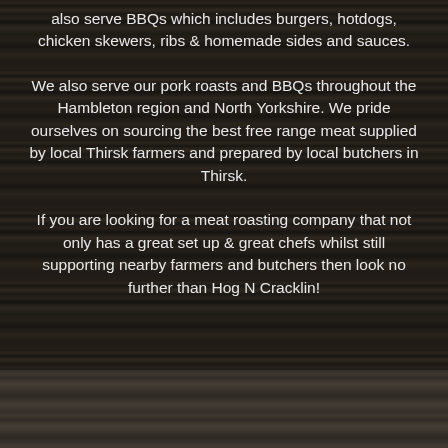also serve BBQs which includes burgers, hotdogs, chicken skewers, ribs & homemade sides and sauces.
We also serve our pork roasts and BBQs throughout the Hambleton region and North Yorkshire. We pride ourselves on sourcing the best free range meat supplied by local Thirsk farmers and prepared by local butchers in Thirsk.
If you are looking for a meat roasting company that not only has a great set up & great chefs whilst still supporting nearby farmers and butchers then look no further than Hog N Cracklin!